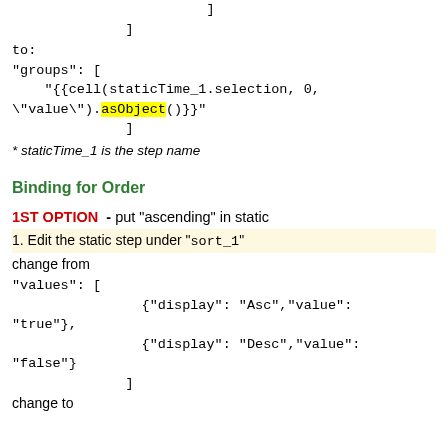]
     ]
to:
"groups": [
    "{{cell(staticTime_1.selection, 0, \"value\").asObject()}}"
         ]
* staticTime_1 is the step name
Binding for Order
1ST OPTION  - put "ascending" in static
1. Edit the static step under "sort_1"
change from
"values": [
                {"display": "Asc","value": "true"},
                {"display": "Desc","value": "false"}
                ]
change to